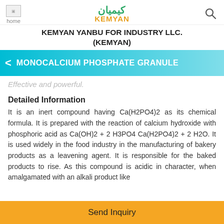KEMYAN YANBU FOR INDUSTRY LLC. (KEMYAN)
MONOCALCIUM PHOSPHATE GRANULE
Effective and powerful.
Detailed Information
It is an inert compound having Ca(H2PO4)2 as its chemical formula. It is prepared with the reaction of calcium hydroxide with phosphoric acid as Ca(OH)2 + 2 H3PO4 Ca(H2PO4)2 + 2 H2O. It is used widely in the food industry in the manufacturing of bakery products as a leavening agent. It is responsible for the baked products to rise. As this compound is acidic in character, when amalgamated with an alkali product like